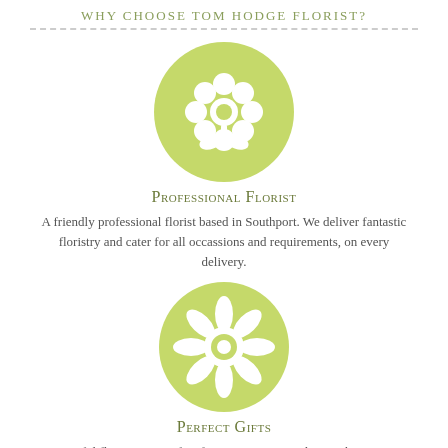Why Choose Tom Hodge Florist?
[Figure (illustration): Light green circle with white flower/plant icon (rose with leaves)]
Professional Florist
A friendly professional florist based in Southport. We deliver fantastic floristry and cater for all occassions and requirements, on every delivery.
[Figure (illustration): Light green circle with white sunflower/daisy icon]
Perfect Gifts
Beautiful flowers are perfect for any occasion and on each occasion we